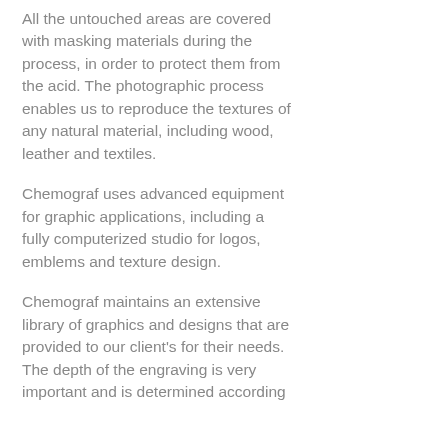All the untouched areas are covered with masking materials during the process, in order to protect them from the acid. The photographic process enables us to reproduce the textures of any natural material, including wood, leather and textiles.
Chemograf uses advanced equipment for graphic applications, including a fully computerized studio for logos, emblems and texture design.
Chemograf maintains an extensive library of graphics and designs that are provided to our client's for their needs. The depth of the engraving is very important and is determined according